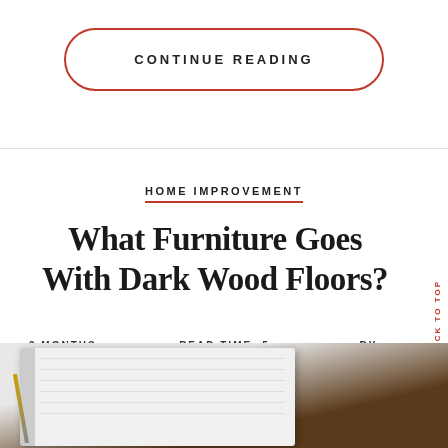CONTINUE READING
HOME IMPROVEMENT
What Furniture Goes With Dark Wood Floors?
2 MONTHS AGO   READ TIME: 5 MINUTES   BY ADMIN   LEAVE A COMMENT
[Figure (photo): Open notebook with pencil resting on dark wood surface]